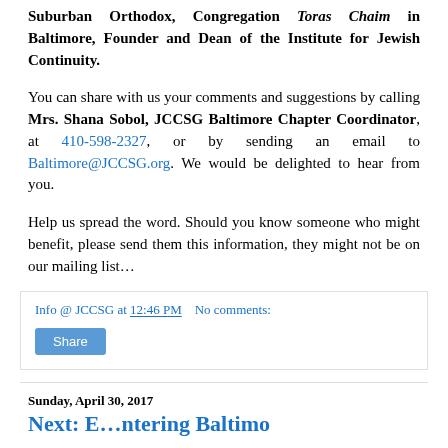Suburban Orthodox, Congregation Toras Chaim in Baltimore, Founder and Dean of the Institute for Jewish Continuity.
You can share with us your comments and suggestions by calling Mrs. Shana Sobol, JCCSG Baltimore Chapter Coordinator, at 410-598-2327, or by sending an email to Baltimore@JCCSG.org. We would be delighted to hear from you.
Help us spread the word. Should you know someone who might benefit, please send them this information, they might not be on our mailing list…
Info @ JCCSG at 12:46 PM   No comments:
Share
Sunday, April 30, 2017
Next: Footnoting Baltimore…